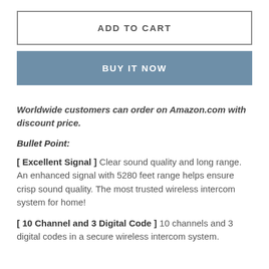ADD TO CART
BUY IT NOW
Worldwide customers can order on Amazon.com with discount price.
Bullet Point:
[ Excellent Signal ] Clear sound quality and long range. An enhanced signal with 5280 feet range helps ensure crisp sound quality. The most trusted wireless intercom system for home!
[ 10 Channel and 3 Digital Code ] 10 channels and 3 digital codes in a secure wireless intercom system.